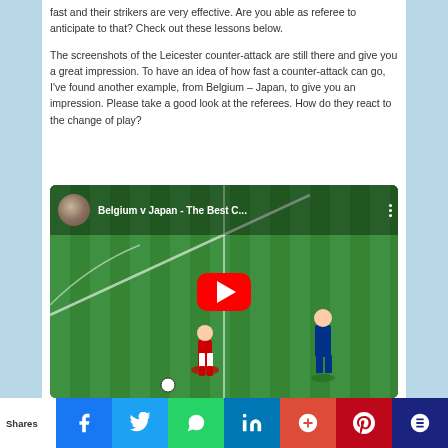fast and their strikers are very effective. Are you able as referee to anticipate to that? Check out these lessons below.
The screenshots of the Leicester counter-attack are still there and give you a great impression. To have an idea of how fast a counter-attack can go, I've found another example, from Belgium – Japan, to give you an impression. Please take a good look at the referees. How do they react to the change of play?
[Figure (screenshot): YouTube video embed: Belgium v Japan - The Best C... with a play button overlay on a football match background]